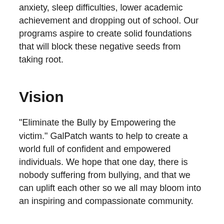anxiety, sleep difficulties, lower academic achievement and dropping out of school. Our programs aspire to create solid foundations that will block these negative seeds from taking root.
Vision
"Eliminate the Bully by Empowering the victim." GalPatch wants to help to create a world full of confident and empowered individuals. We hope that one day, there is nobody suffering from bullying, and that we can uplift each other so we all may bloom into an inspiring and compassionate community.